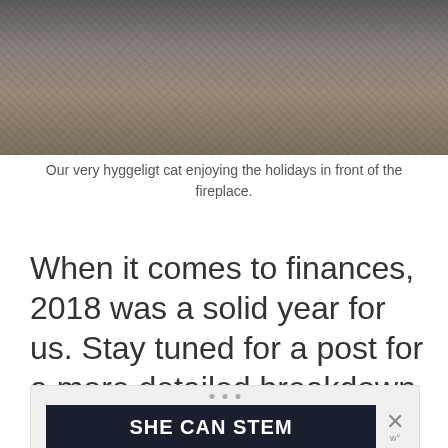[Figure (photo): A cat resting on what appears to be a carpet or rug surface, viewed from above, with dark fur visible against a textured gray/blue background.]
Our very hyggeligt cat enjoying the holidays in front of the fireplace.
When it comes to finances, 2018 was a solid year for us. Stay tuned for a post for a more detailed breakdown with a lot of numbers!
[Figure (screenshot): Advertisement banner showing 'SHE CAN STEM' in bold white text on a dark navy background, with three navigation dots above it and a close (X) button to the right.]